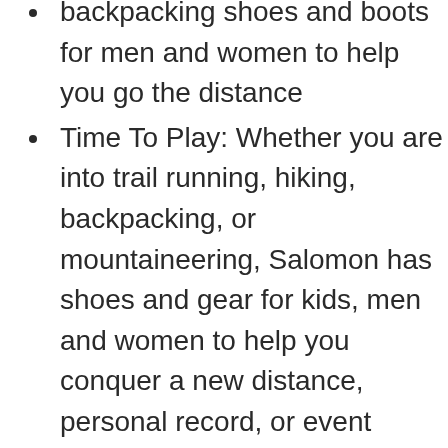backpacking shoes and boots for men and women to help you go the distance
Time To Play: Whether you are into trail running, hiking, backpacking, or mountaineering, Salomon has shoes and gear for kids, men and women to help you conquer a new distance, personal record, or event
Since 1947 Salomon has created innovative outdoor sports gear; From running and hiking to backpacking, skiing and more, our shoes, boots, bags, apparel and